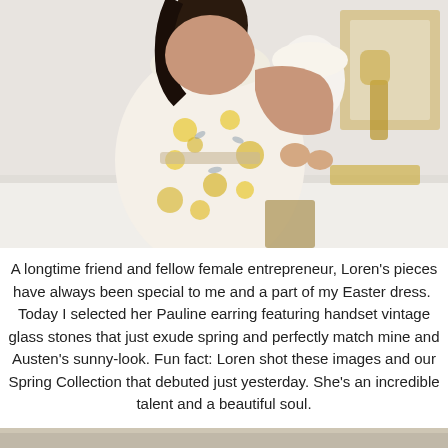[Figure (photo): A woman wearing a white floral dress with yellow flowers holding a young child, standing near a white dresser or counter. The woman's back is partially visible, showing a low open back on the dress with ruffle details. The child is dressed in a similar floral outfit.]
A longtime friend and fellow female entrepreneur, Loren's pieces have always been special to me and a part of my Easter dress.  Today I selected her Pauline earring featuring handset vintage glass stones that just exude spring and perfectly match mine and Austen's sunny-look. Fun fact: Loren shot these images and our Spring Collection that debuted just yesterday. She's an incredible talent and a beautiful soul.
[Figure (photo): Bottom portion of another photograph, partially visible at the bottom of the page.]